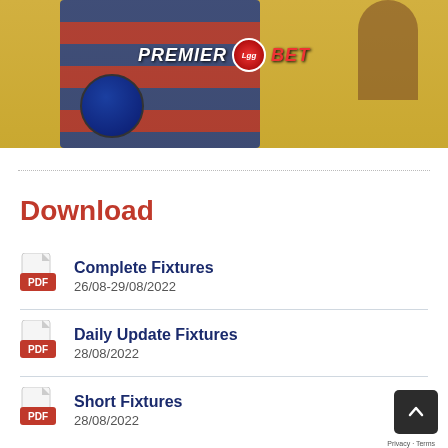[Figure (photo): Sports photo banner with a soccer player in FC Barcelona's blue and red striped jersey holding a ball, with 'PREMIER BET' logo overlay and yellow background branding]
Download
Complete Fixtures
26/08-29/08/2022
Daily Update Fixtures
28/08/2022
Short Fixtures
28/08/2022